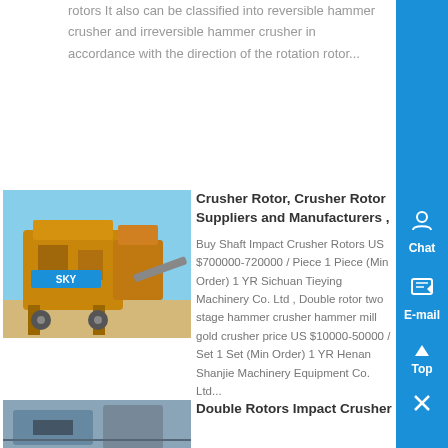rotors It also can be classified into reversible hammer crusher and irreversible hammer crusher in accordance with the direction of the rotation rotor...
[Figure (photo): Yellow industrial crusher/screening machine on a construction site with SKY branding, under blue sky]
Crusher Rotor, Crusher Rotor Suppliers and Manufacturers ,
Buy Shaft Impact Crusher Rotors US $700000-720000 / Piece 1 Piece (Min Order) 1 YR Sichuan Tieying Machinery Co Ltd , Double rotor two stage hammer crusher hammer mill gold crusher price US $10000-50000 / Set 1 Set (Min Order) 1 YR Henan Shanjie Machinery Equipment Co. Ltd...
[Figure (photo): Industrial crusher/impact crusher equipment, partially visible at bottom of page]
Double Rotors Impact Crusher